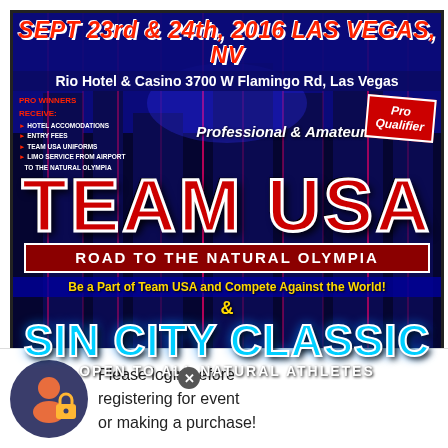[Figure (infographic): Event flyer for Team USA Road to the Natural Olympia & Sin City Classic bodybuilding competition in Las Vegas, NV, September 23rd & 24th 2016 at Rio Hotel & Casino]
SEPT 23rd & 24th, 2016 LAS VEGAS, NV
Rio Hotel & Casino 3700 W Flamingo Rd, Las Vegas
PRO WINNERS RECEIVE: HOTEL ACCOMODATIONS, ENTRY FEES, TEAM USA UNIFORMS, LIMO SERVICE FROM AIRPORT TO THE NATURAL OLYMPIA
Pro Qualifier
Professional & Amateur
TEAM USA
ROAD TO THE NATURAL OLYMPIA
Be a Part of Team USA and Compete Against the World!
&
SIN CITY CLASSIC
OPEN TO ALL NATURAL ATHLETES
Please login before registering for event or making a purchase!